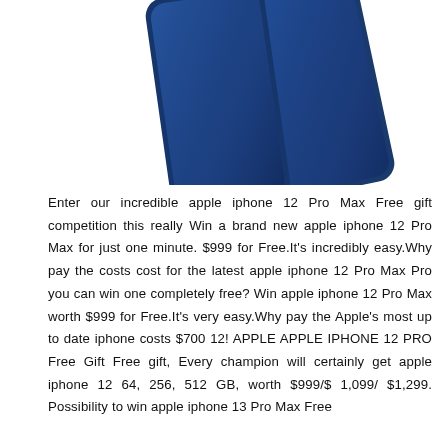[Figure (photo): Two blue Apple iPhone 12 Pro Max phones shown from above at an angle, cropped so only the top portions are visible against a white background.]
Enter our incredible apple iphone 12 Pro Max Free gift competition this really Win a brand new apple iphone 12 Pro Max for just one minute. $999 for Free.It's incredibly easy.Why pay the costs cost for the latest apple iphone 12 Pro Max Pro you can win one completely free? Win apple iphone 12 Pro Max worth $999 for Free.It's very easy.Why pay the Apple's most up to date iphone costs $700 12! APPLE APPLE IPHONE 12 PRO Free Gift Free gift, Every champion will certainly get apple iphone 12 64, 256, 512 GB, worth $999/$ 1,099/ $1,299. Possibility to win apple iphone 13 Pro Max Free